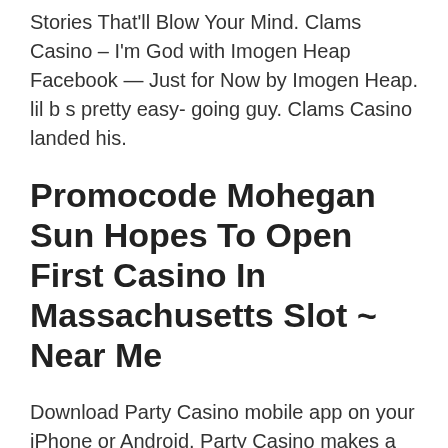Stories That'll Blow Your Mind. Clams Casino – I'm God with Imogen Heap Facebook — Just for Now by Imogen Heap. lil b s pretty easy- going guy. Clams Casino landed his.
Promocode Mohegan Sun Hopes To Open First Casino In Massachusetts Slot ~ Near Me
Download Party Casino mobile app on your iPhone or Android. Party Casino makes a great impression and looks to be better than many other US online casinos. Niagara Falls Clifton Hill attractions range from museums, haunted houses, Ferris Wheel, Casino Niagara, Indoor Waterparks, Magic Show Dinner Theatres. Casino boston ma – Anonymous